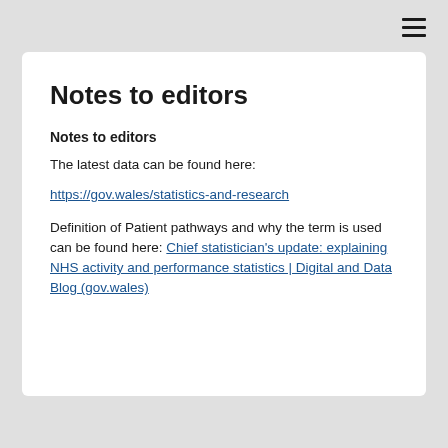Notes to editors
Notes to editors
The latest data can be found here:
https://gov.wales/statistics-and-research
Definition of Patient pathways and why the term is used can be found here: Chief statistician's update: explaining NHS activity and performance statistics | Digital and Data Blog (gov.wales)